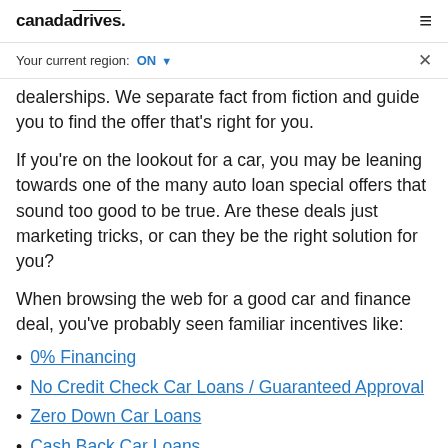canadadrives.
Your current region: ON ✓  ×
dealerships. We separate fact from fiction and guide you to find the offer that's right for you.
If you're on the lookout for a car, you may be leaning towards one of the many auto loan special offers that sound too good to be true. Are these deals just marketing tricks, or can they be the right solution for you?
When browsing the web for a good car and finance deal, you've probably seen familiar incentives like:
0% Financing
No Credit Check Car Loans / Guaranteed Approval
Zero Down Car Loans
Cash Back Car Loans